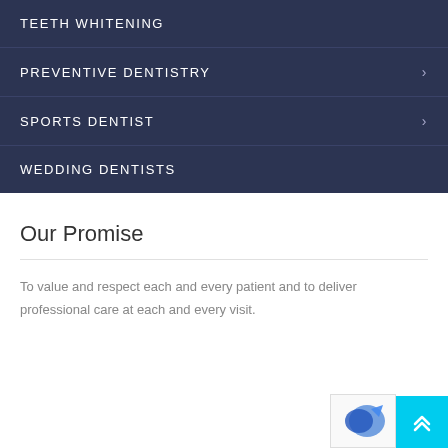TEETH WHITENING
PREVENTIVE DENTISTRY
SPORTS DENTIST
WEDDING DENTISTS
Our Promise
To value and respect each and every patient and to deliver professional care at each and every visit.